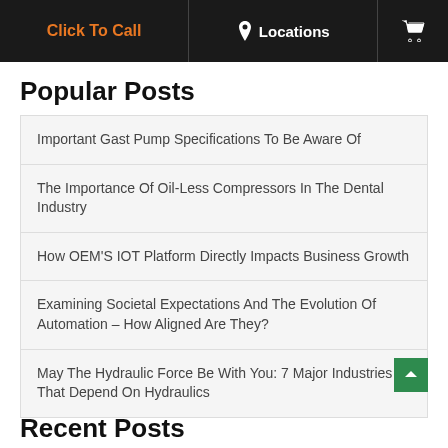Click To Call | Locations | [cart icon]
Popular Posts
Important Gast Pump Specifications To Be Aware Of
The Importance Of Oil-Less Compressors In The Dental Industry
How OEM'S IOT Platform Directly Impacts Business Growth
Examining Societal Expectations And The Evolution Of Automation – How Aligned Are They?
May The Hydraulic Force Be With You: 7 Major Industries That Depend On Hydraulics
Recent Posts